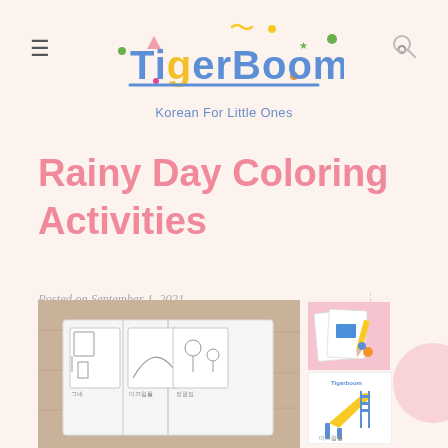[Figure (logo): TigerBoom logo with colorful letters, decorative dots and shapes, tagline 'Korean For Little Ones']
Rainy Day Coloring Activities
Posted on September 1, 2021 in Parenting, Printables
0 Comments
[Figure (photo): Photo of coloring book pages spread open on a wooden table, showing Korean playground scenes in outline style]
[Figure (photo): Thumbnail image on pink background showing coloring pages with art supplies]
[Figure (illustration): Thumbnail showing TigerBoom branded illustration of a yellow slide/playground equipment]